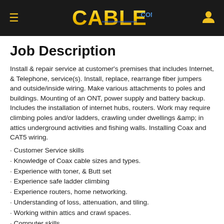CABLE.COM
Job Description
Install & repair service at customer's premises that includes Internet, & Telephone, service(s). Install, replace, rearrange fiber jumpers and outside/inside wiring. Make various attachments to poles and buildings. Mounting of an ONT, power supply and battery backup. Includes the installation of internet hubs, routers. Work may require climbing poles and/or ladders, crawling under dwellings &amp; in attics underground activities and fishing walls. Installing Coax and CAT5 wiring.
Customer Service skills
Knowledge of Coax cable sizes and types.
Experience with toner, & Butt set
Experience safe ladder climbing
Experience routers, home networking.
Understanding of loss, attenuation, and tiling.
Working within attics and crawl spaces.
Computer skills